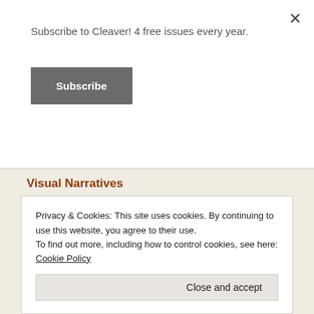Subscribe to Cleaver! 4 free issues every year.
Subscribe
Visual Narratives
[Figure (illustration): Decorative ornamental border with repeating floral/botanical motif in black and white, showing circular medallions with flower-like forms.]
Privacy & Cookies: This site uses cookies. By continuing to use this website, you agree to their use.
To find out more, including how to control cookies, see here: Cookie Policy
Close and accept
[Figure (illustration): Partial decorative illustration strip at the bottom of the page.]